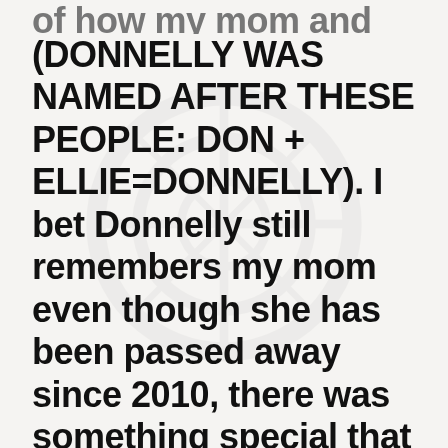of how my mom and dad met (DONNELLY WAS NAMED AFTER THESE PEOPLE: DON + ELLIE=DONNELLY). I bet Donnelly still remembers my mom even though she has been passed away since 2010, there was something special that made those two connect immediately. Donnelly has an inalienable right to his